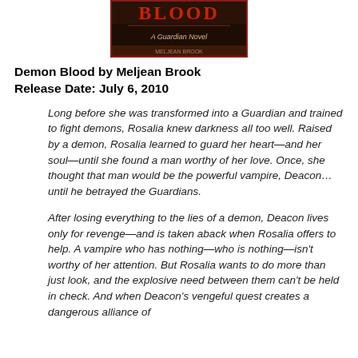[Figure (photo): Book cover image for 'Demon Blood: A Guardian Novel' by Meljean Brook, showing dark red and brown tones with stylized title text]
Demon Blood by Meljean Brook
Release Date: July 6, 2010
Long before she was transformed into a Guardian and trained to fight demons, Rosalia knew darkness all too well. Raised by a demon, Rosalia learned to guard her heart—and her soul—until she found a man worthy of her love. Once, she thought that man would be the powerful vampire, Deacon…until he betrayed the Guardians.
After losing everything to the lies of a demon, Deacon lives only for revenge—and is taken aback when Rosalia offers to help. A vampire who has nothing—who is nothing—isn't worthy of her attention. But Rosalia wants to do more than just look, and the explosive need between them can't be held in check. And when Deacon's vengeful quest creates a dangerous alliance of